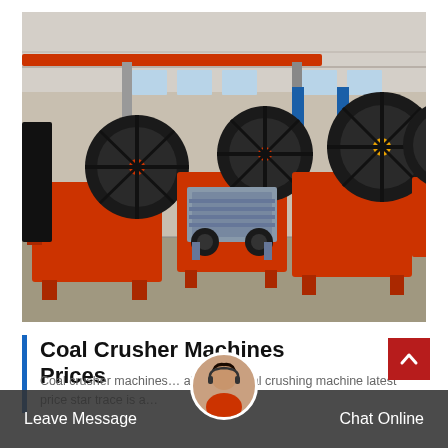[Figure (photo): Industrial manufacturing facility showing multiple large orange jaw crusher machines with black flywheels arranged on a concrete floor inside a large warehouse/factory building. A smaller grey machine is visible in the center.]
Coal Crusher Machines Prices
Coal crusher machines… al crushercoal crushing machine latest price star trace is a…
Leave Message
Chat Online